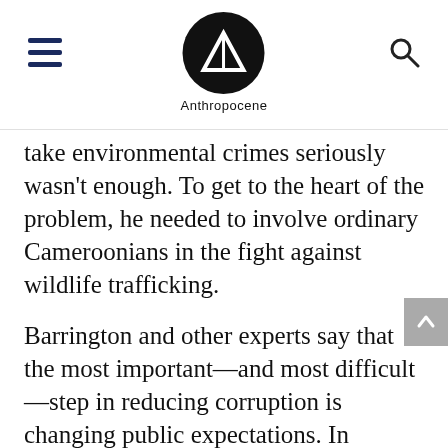Anthropocene
take environmental crimes seriously wasn't enough. To get to the heart of the problem, he needed to involve ordinary Cameroonians in the fight against wildlife trafficking.
Barrington and other experts say that the most important—and most difficult—step in reducing corruption is changing public expectations. In developing countries, poor pay and low social status may tempt some officials into corruption, but cultural attitudes and expectations about the